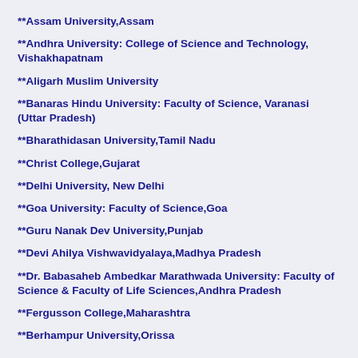**Assam University,Assam
**Andhra University: College of Science and Technology, Vishakhapatnam
**Aligarh Muslim University
**Banaras Hindu University: Faculty of Science, Varanasi (Uttar Pradesh)
**Bharathidasan University,Tamil Nadu
**Christ College,Gujarat
**Delhi University, New Delhi
**Goa University: Faculty of Science,Goa
**Guru Nanak Dev University,Punjab
**Devi Ahilya Vishwavidyalaya,Madhya Pradesh
**Dr. Babasaheb Ambedkar Marathwada University: Faculty of Science & Faculty of Life Sciences,Andhra Pradesh
**Fergusson College,Maharashtra
**Berhampur University,Orissa